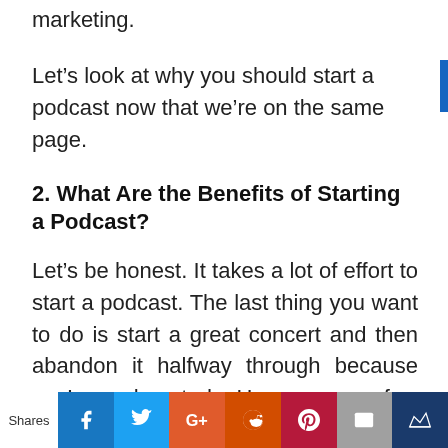marketing.
Let's look at why you should start a podcast now that we're on the same page.
2. What Are the Benefits of Starting a Podcast?
Let's be honest. It takes a lot of effort to start a podcast. The last thing you want to do is start a great concert and then abandon it halfway through because you're exhausted. Here are a few reasons why individuals begin a podcast.